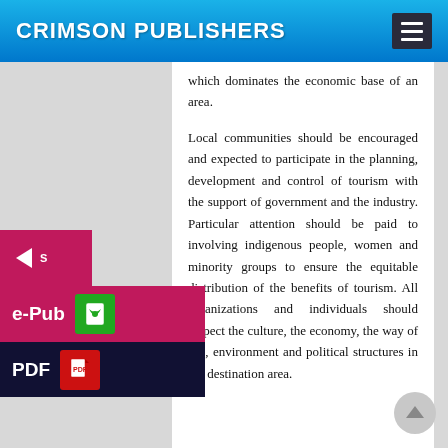CRIMSON PUBLISHERS
which dominates the economic base of an area.
Local communities should be encouraged and expected to participate in the planning, development and control of tourism with the support of government and the industry. Particular attention should be paid to involving indigenous people, women and minority groups to ensure the equitable distribution of the benefits of tourism. All organizations and individuals should respect the culture, the economy, the way of life, environment and political structures in the destination area.